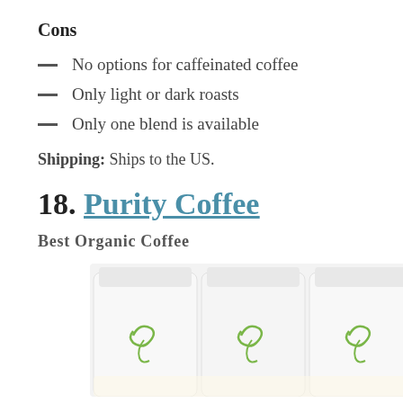Cons
No options for caffeinated coffee
Only light or dark roasts
Only one blend is available
Shipping: Ships to the US.
18. Purity Coffee
Best Organic Coffee
[Figure (photo): Three white coffee bags with green swirl logo from Purity Coffee brand]